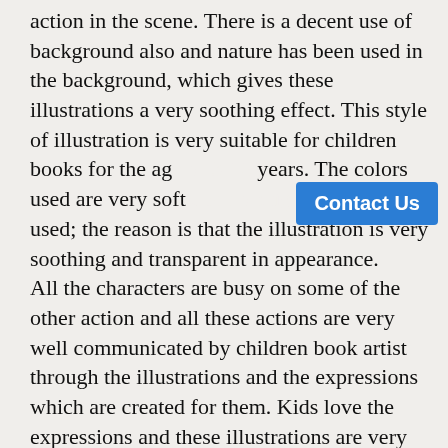action in the scene. There is a decent use of background also and nature has been used in the background, which gives these illustrations a very soothing effect. This style of illustration is very suitable for children books for the age of 3-15 years. The colors used are very soft and no bright colors are used; the reason is that the illustration is very soothing and transparent in appearance. All the characters are busy on some of the other action and all these actions are very well communicated by children book artist through the illustrations and the expressions which are created for them. Kids love the expressions and these illustrations are very rich in expressions. This style of picture book illustration is suitable for both animal characters as well as Human characters.
[Figure (other): A blue 'Contact Us' button overlay on the text]